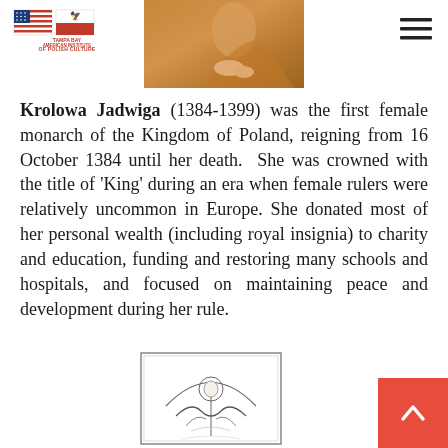[Figure (logo): Tampa Bay American Institute of Polish Culture logo with US and Poland flags]
[Figure (photo): Partial cropped photo of a figure in orange/golden robe, appears to be a historical painting of Krolowa Jadwiga]
Krolowa Jadwiga (1384-1399) was the first female monarch of the Kingdom of Poland, reigning from 16 October 1384 until her death. She was crowned with the title of 'King' during an era when female rulers were relatively uncommon in Europe. She donated most of her personal wealth (including royal insignia) to charity and education, funding and restoring many schools and hospitals, and focused on maintaining peace and development during her rule.
[Figure (illustration): Black and white line drawing/engraving of a royal or religious figure with halo and eagle motif, likely representing Krolowa Jadwiga]